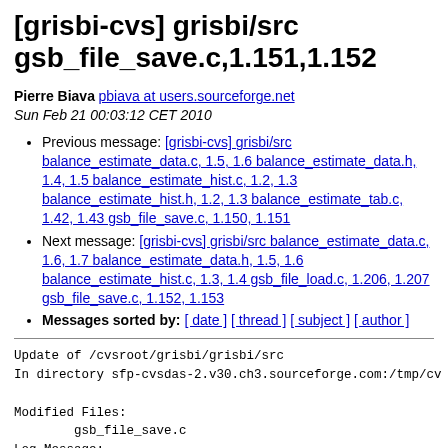[grisbi-cvs] grisbi/src gsb_file_save.c,1.151,1.152
Pierre Biava pbiava at users.sourceforge.net
Sun Feb 21 00:03:12 CET 2010
Previous message: [grisbi-cvs] grisbi/src balance_estimate_data.c, 1.5, 1.6 balance_estimate_data.h, 1.4, 1.5 balance_estimate_hist.c, 1.2, 1.3 balance_estimate_hist.h, 1.2, 1.3 balance_estimate_tab.c, 1.42, 1.43 gsb_file_save.c, 1.150, 1.151
Next message: [grisbi-cvs] grisbi/src balance_estimate_data.c, 1.6, 1.7 balance_estimate_data.h, 1.5, 1.6 balance_estimate_hist.c, 1.3, 1.4 gsb_file_load.c, 1.206, 1.207 gsb_file_save.c, 1.152, 1.153
Messages sorted by: [ date ] [ thread ] [ subject ] [ author ]
Update of /cvsroot/grisbi/grisbi/src
In directory sfp-cvsdas-2.v30.ch3.sourceforge.com:/tmp/cv

Modified Files:
        gsb_file_save.c
Log Message: